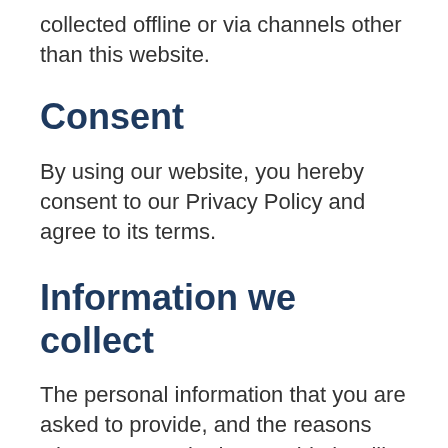collected offline or via channels other than this website.
Consent
By using our website, you hereby consent to our Privacy Policy and agree to its terms.
Information we collect
The personal information that you are asked to provide, and the reasons why you are asked to provide it, will be made clear to you at the point we ask you to provide your personal information.